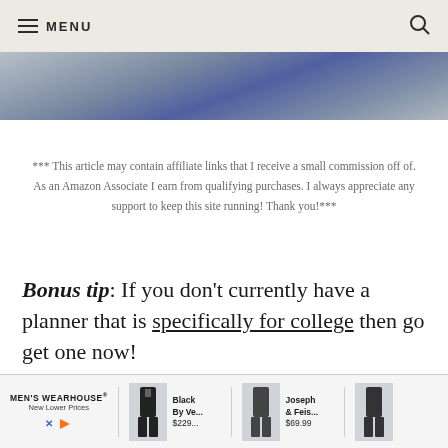≡ MENU
[Figure (photo): Partial view of a photo strip showing a person in dark clothing against a whiteboard with handwriting]
*** This article may contain affiliate links that I receive a small commission off of. As an Amazon Associate I earn from qualifying purchases. I always appreciate any support to keep this site running! Thank you!***
Bonus tip: If you don't currently have a planner that is specifically for college then go get one now!
[Figure (screenshot): Men's Wearhouse advertisement banner showing suits — Black By Ve... $229... and Joseph & Feis... $69.99]